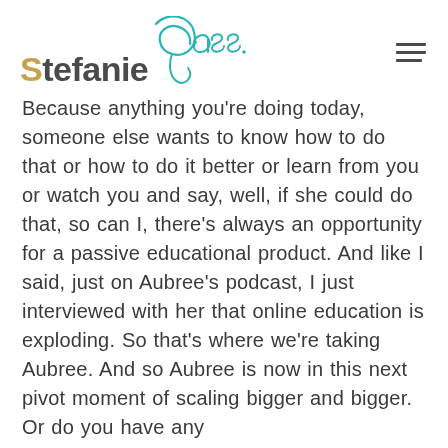Stefanie Gass
Because anything you're doing today, someone else wants to know how to do that or how to do it better or learn from you or watch you and say, well, if she could do that, so can I, there's always an opportunity for a passive educational product. And like I said, just on Aubree's podcast, I just interviewed with her that online education is exploding. So that's where we're taking Aubree. And so Aubree is now in this next pivot moment of scaling bigger and bigger. Or do you have any